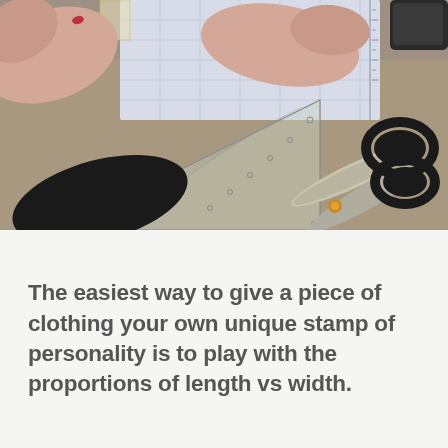[Figure (photo): Overhead view of hands working on a cutting mat/table surface with a transparent triangle ruler/set square, graph paper or cutting mat with grid lines, and a pair of black-handled scissors (Fiskars-style) on a tan/brown work surface.]
The easiest way to give a piece of clothing your own unique stamp of personality is to play with the proportions of length vs width.